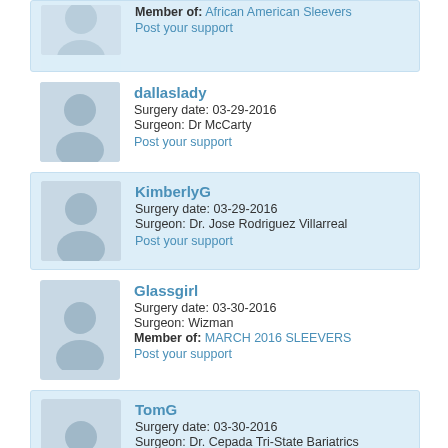Member of: African American Sleevers
Post your support
dallaslady
Surgery date: 03-29-2016
Surgeon: Dr McCarty
Post your support
KimberlyG
Surgery date: 03-29-2016
Surgeon: Dr. Jose Rodriguez Villarreal
Post your support
Glassgirl
Surgery date: 03-30-2016
Surgeon: Wizman
Member of: MARCH 2016 SLEEVERS
Post your support
TomG
Surgery date: 03-30-2016
Surgeon: Dr. Cepada Tri-State Bariatrics
Post your support
Ginsadberry
Surgery date: 03-30-2016